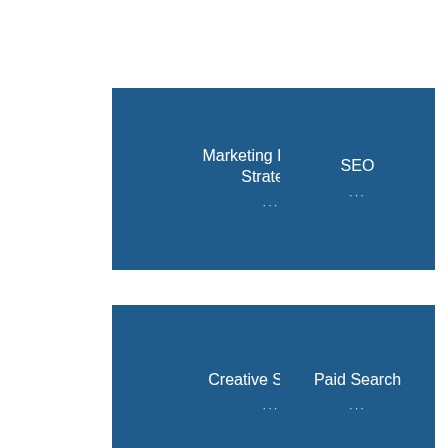[Figure (other): Blue card labeled 'Marketing Planning Strategy' with ellipsis]
[Figure (other): Blue card labeled 'SEO' with ellipsis]
[Figure (other): Blue card labeled 'Creative Services' with ellipsis]
[Figure (other): Blue card labeled 'Paid Search' with ellipsis]